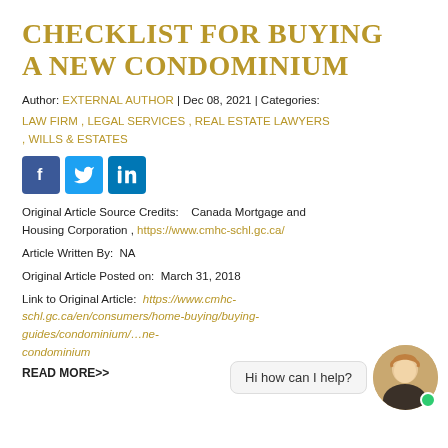CHECKLIST FOR BUYING A NEW CONDOMINIUM
Author: EXTERNAL AUTHOR | Dec 08, 2021 | Categories:
LAW FIRM , LEGAL SERVICES , REAL ESTATE LAWYERS , WILLS & ESTATES
[Figure (other): Social media icons: Facebook, Twitter, LinkedIn]
Original Article Source Credits:    Canada Mortgage and Housing Corporation , https://www.cmhc-schl.gc.ca/
Article Written By:  NA
Original Article Posted on:  March 31, 2018
Link to Original Article:  https://www.cmhc-schl.gc.ca/en/consumers/home-buying/buying-guides/condominium/...ne-condominium
READ MORE>>
[Figure (other): Chat bubble with text 'Hi how can I help?' and avatar of a woman with online indicator dot]